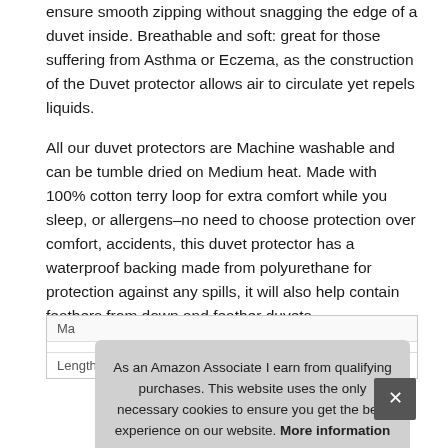ensure smooth zipping without snagging the edge of a duvet inside. Breathable and soft: great for those suffering from Asthma or Eczema, as the construction of the Duvet protector allows air to circulate yet repels liquids.
All our duvet protectors are Machine washable and can be tumble dried on Medium heat. Made with 100% cotton terry loop for extra comfort while you sleep, or allergens–no need to choose protection over comfort, accidents, this duvet protector has a waterproof backing made from polyurethane for protection against any spills, it will also help contain feathers from down and feather duvets.
|  |  |
| --- | --- |
| Ma |  |
| Length | 35.99 cm (14.17 inches) |
As an Amazon Associate I earn from qualifying purchases. This website uses the only necessary cookies to ensure you get the best experience on our website. More information